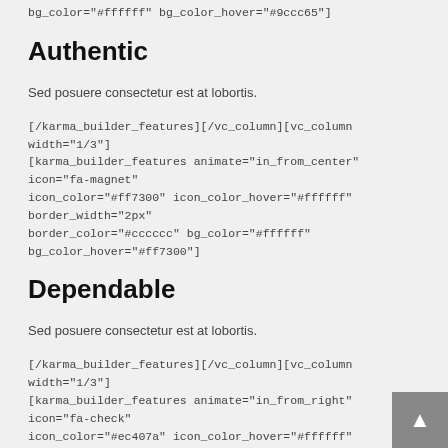bg_color="#ffffff" bg_color_hover="#9ccc65"]
Authentic
Sed posuere consectetur est at lobortis.
[/karma_builder_features][/vc_column][vc_column width="1/3"] [karma_builder_features animate="in_from_center" icon="fa-magnet" icon_color="#ff7300" icon_color_hover="#ffffff" border_width="2px" border_color="#cccccc" bg_color="#ffffff" bg_color_hover="#ff7300"]
Dependable
Sed posuere consectetur est at lobortis.
[/karma_builder_features][/vc_column][vc_column width="1/3"] [karma_builder_features animate="in_from_right" icon="fa-check" icon_color="#ec407a" icon_color_hover="#ffffff" border_width="2px" border_color="#cccccc" bg_color="#ffffff" bg_color_hover="#ec407a"]
Honest
Sed posuere consectetur est at lobortis.